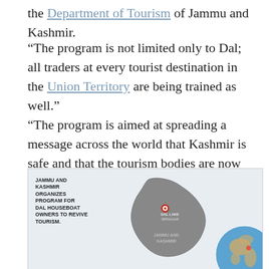the Department of Tourism of Jammu and Kashmir.
“The program is not limited only to Dal; all traders at every tourist destination in the Union Territory are being trained as well.”
“The program is aimed at spreading a message across the world that Kashmir is safe and that the tourism bodies are now ready to welcome tourists,” he said.
[Figure (map): Map of Jammu and Kashmir showing the region's outline in grey with a red pin marker at Dal Lake, Srinagar. Text overlay reads: JAMMU AND KASHMIR ORGANIZES PROGRAM FOR DAL HOUSEBOAT OWNERS TO REVIVE TOURISM. A globe inset appears at bottom right.]